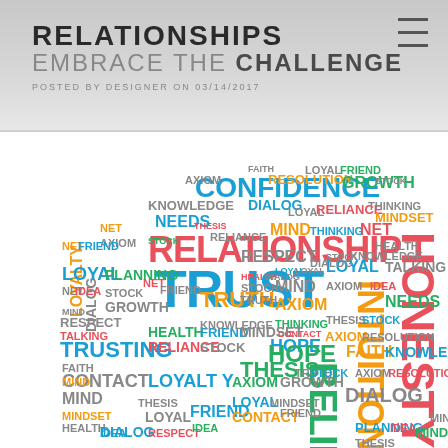RELATIONSHIPS
EMBRACE THE CHALLENGE
POSTED BY DESIGNER ON 03/14/2017
[Figure (infographic): Word cloud about relationships featuring words like TRUST, RELATIONSHIP, CONFIDENCE, HONESTY, INTUITION, TRUSTING, BELIEVE, HOPE, FAITH, LOYAL, DIALOG, TRUTH, GROWTH, etc. in multiple colors (blue, orange, green, purple, yellow) arranged in a circular/globe shape.]